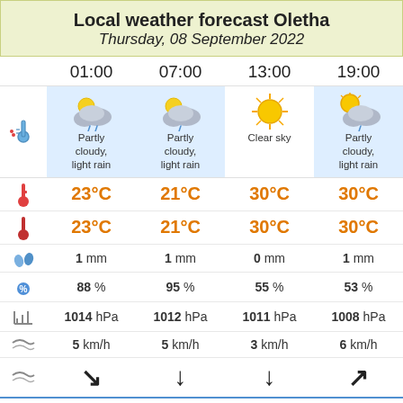Local weather forecast Oletha
Thursday, 08 September 2022
|  | 01:00 | 07:00 | 13:00 | 19:00 |
| --- | --- | --- | --- | --- |
| icon | Partly cloudy, light rain | Partly cloudy, light rain | Clear sky | Partly cloudy, light rain |
| temp | 23°C | 21°C | 30°C | 30°C |
| feels | 23°C | 21°C | 30°C | 30°C |
| precip | 1 mm | 1 mm | 0 mm | 1 mm |
| humidity | 88 % | 95 % | 55 % | 53 % |
| pressure | 1014 hPa | 1012 hPa | 1011 hPa | 1008 hPa |
| wind | 5 km/h | 5 km/h | 3 km/h | 6 km/h |
| dir | ↘ | ↓ | ↓ | ↗ |